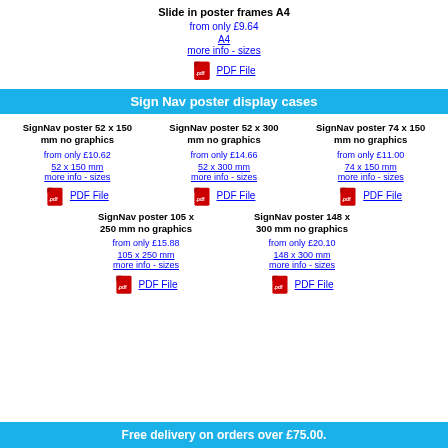Slide in poster frames A4
from only £9.64
A4
more info - sizes
PDF File
Sign Nav poster display cases
SignNav poster 52 x 150 mm no graphics
from only £10.62
52 x 150 mm
more info - sizes
PDF File
SignNav poster 52 x 300 mm no graphics
from only £14.66
52 x 300 mm
more info - sizes
PDF File
SignNav poster 74 x 150 mm no graphics
from only £11.00
74 x 150 mm
more info - sizes
PDF File
SignNav poster 105 x 250 mm no graphics
from only £15.88
105 x 250 mm
more info - sizes
PDF File
SignNav poster 148 x 300 mm no graphics
from only £20.10
148 x 300 mm
more info - sizes
PDF File
Free delivery on orders over £75.00.